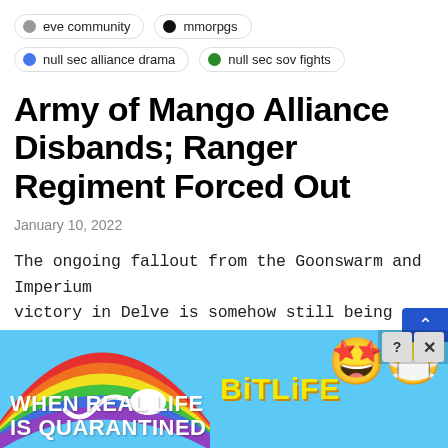eve community
mmorpgs
null sec alliance drama
null sec sov fights
Army of Mango Alliance Disbands; Ranger Regiment Forced Out
January 10, 2022
The ongoing fallout from the Goonswarm and Imperium victory in Delve is somehow still being felt in EVE Online. Imperium forces managed to outlast the…
[Figure (illustration): Advertisement banner for BitLife mobile game featuring rainbow arc, 'WHEN REAL LIFE IS QUARANTINED' text, sperm cell graphic, BitLife logo in yellow, and emoji character with star eyes and face mask]